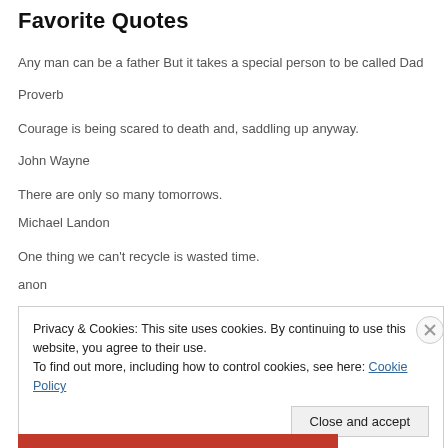Favorite Quotes
Any man can be a father But it takes a special person to be called Dad
Proverb
Courage is being scared to death and, saddling up anyway.
John Wayne
There are only so many tomorrows.
Michael Landon
One thing we can't recycle is wasted time.
anon
Privacy & Cookies: This site uses cookies. By continuing to use this website, you agree to their use.
To find out more, including how to control cookies, see here: Cookie Policy
Close and accept